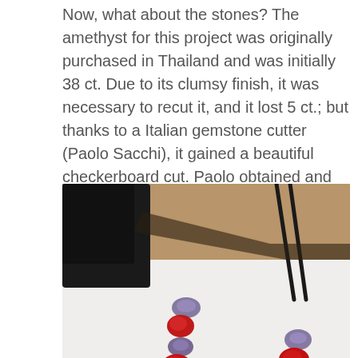Now, what about the stones? The amethyst for this project was originally purchased in Thailand and was initially 38 ct. Due to its clumsy finish, it was necessary to recut it, and it lost 5 ct.; but thanks to a Italian gemstone cutter (Paolo Sacchi), it gained a beautiful checkerboard cut. Paolo obtained and polished a set of smaller stones, which in colour, saturation of hue, cut and cleanliness perfectly matched the main amethyst.
[Figure (photo): A photograph showing gemstones (amethyst and red stones) laid out in arrangement on a white surface, with tweezers and a black object visible in the background on a wooden surface.]